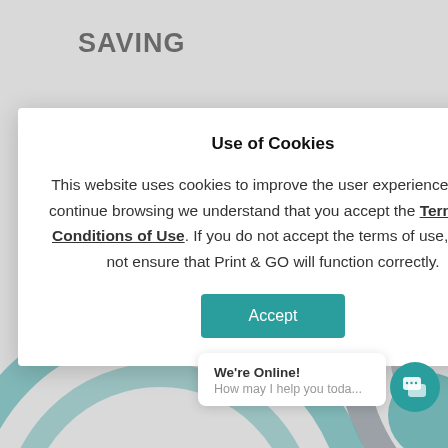SAVING
logistics
ition, it
Use of Cookies
This website uses cookies to improve the user experience. If you continue browsing we understand that you accept the Terms and Conditions of Use. If you do not accept the terms of use, we do not ensure that Print & GO will function correctly.
Accept
We're Online!
How may I help you toda...